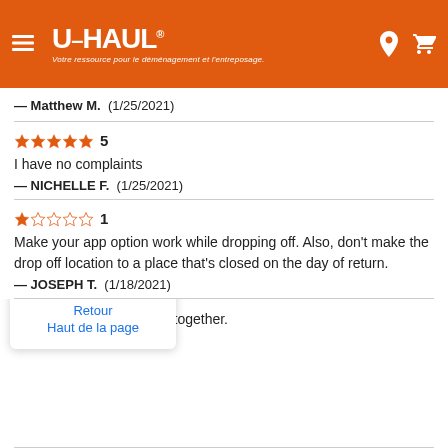[Figure (screenshot): U-Haul website header with orange background, hamburger menu, U-Haul logo with tagline in French, location pin icon and cart icon]
— Matthew M. (1/25/2021)
★★★★★ 5
I have no complaints
— NICHELLE F. (1/25/2021)
★☆☆☆☆ 1
Make your app option work while dropping off. Also, don't make the drop off location to a place that's closed on the day of return.
— JOSEPH T. (1/18/2021)
o work with. Had his s__t together.
2020)
Retour
Haut de la page